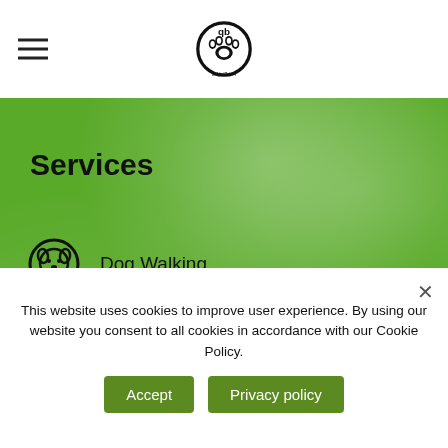[Figure (logo): Pet Pickles logo - circular paw print icon with stylized 'dp' text and 'Pet Pickles' text mirrored/flipped]
Services
Dog Walking
Pet Sitting
Pet Transport
This website uses cookies to improve user experience. By using our website you consent to all cookies in accordance with our Cookie Policy.